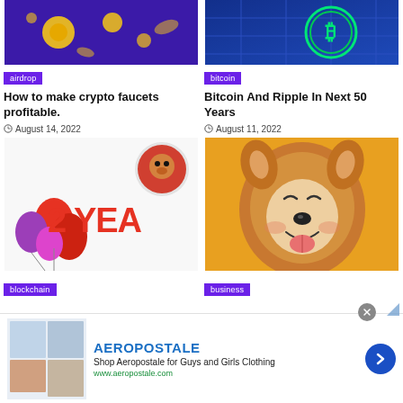[Figure (photo): Airdrop crypto article thumbnail — gold coins on purple background]
[Figure (photo): Bitcoin article thumbnail — green bitcoin logo on blue circuit board]
airdrop
bitcoin
How to make crypto faucets profitable.
Bitcoin And Ripple In Next 50 Years
August 14, 2022
August 11, 2022
[Figure (photo): Shiba Inu 2 Years celebration — balloons and SHIB logo, red text '2 YEA']
[Figure (photo): Happy Shiba Inu dog with yellow background]
blockchain
business
AEROPOSTALE
Shop Aeropostale for Guys and Girls Clothing
www.aeropostale.com